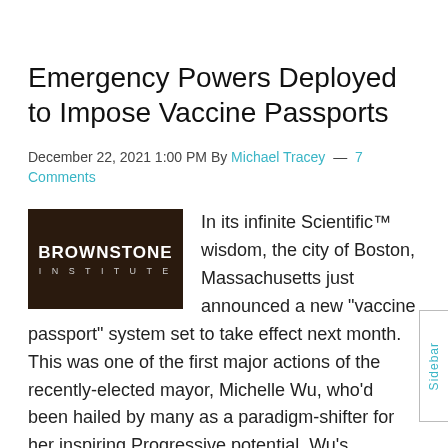Emergency Powers Deployed to Impose Vaccine Passports
December 22, 2021 1:00 PM By Michael Tracey — 7 Comments
[Figure (logo): Brownstone Institute logo — dark brown background with white bold text reading BROWNSTONE INSTITUTE]
In its infinite Scientific™ wisdom, the city of Boston, Massachusetts just announced a new “vaccine passport” system set to take effect next month. This was one of the first major actions of the recently-elected mayor, Michelle Wu, who’d been hailed by many as a paradigm-shifter for her inspiring Progressive potential. Wu’s passport system is endearingly